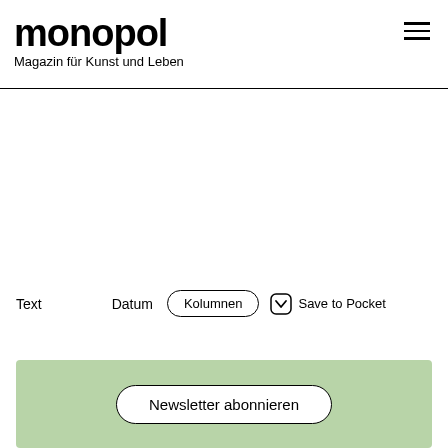monopol – Magazin für Kunst und Leben
Text
Datum
Kolumnen
Save to Pocket
Newsletter abonnieren